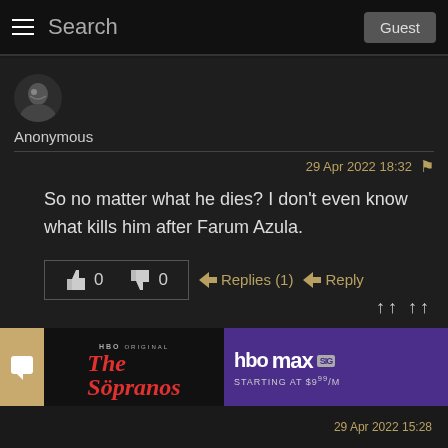Search  Guest
Anonymous
29 Apr 2022 18:32
So no matter what he dies? I don't even know what kills him after Farum Azula.
👍 0   👎 0   ➤Replies (1)   ➤Reply
[Figure (screenshot): HBO Max advertisement for The Sopranos - Starting at $9/M]
29 Apr 2022 15:28